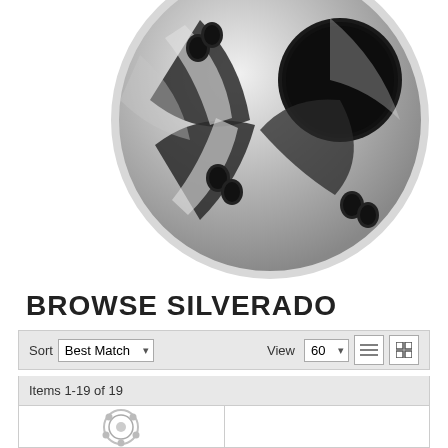[Figure (photo): Close-up photo of a chrome/polished silver wheel hub or center cap with black lug nuts and a black circular center, showing reflective metallic finish]
BROWSE SILVERADO
Sort Best Match  View 60  Items 1-19 of 19
[Figure (photo): Small product thumbnail image of a wheel spacer or adapter component, chrome/silver colored, circular with bolt holes]